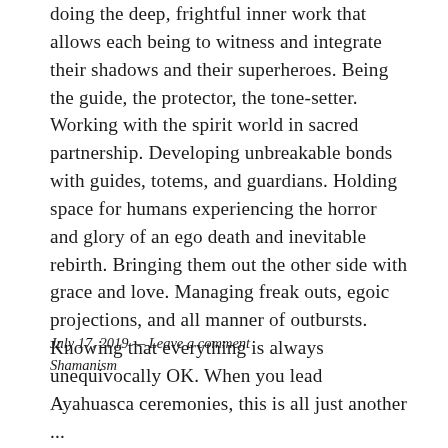doing the deep, frightful inner work that allows each being to witness and integrate their shadows and their superheroes. Being the guide, the protector, the tone-setter. Working with the spirit world in sacred partnership. Developing unbreakable bonds with guides, totems, and guardians. Holding space for humans experiencing the horror and glory of an ego death and inevitable rebirth. Bringing them out the other side with grace and love. Managing freak outs, egoic projections, and all manner of outbursts. Knowing that everything is always unequivocally OK. When you lead Ayahuasca ceremonies, this is all just another ...
July 17, 2019 — Leave a comment
Shamanism